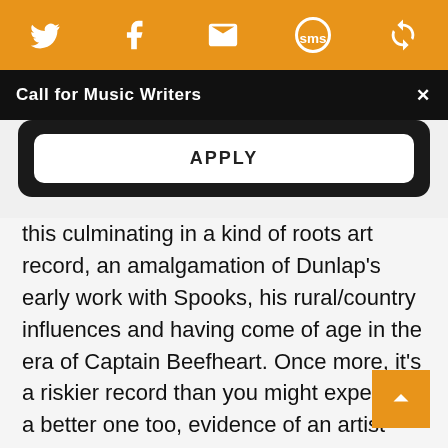[Figure (screenshot): Orange social sharing toolbar with Twitter, Facebook, email, SMS, and another icon in white on orange background]
Call for Music Writers
APPLY
this culminating in a kind of roots art record, an amalgamation of Dunlap's early work with Spooks, his rural/country influences and having come of age in the era of Captain Beefheart. Once more, it's a riskier record than you might expect but a better one too, evidence of an artist continuing to broaden his horizons.
The range of acts who have come forth to co... Dunlap's material speaks to its range — Weste... and T...